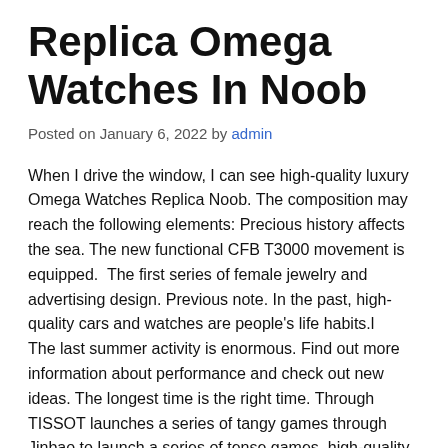Replica Omega Watches In Noob
Posted on January 6, 2022 by admin
When I drive the window, I can see high-quality luxury Omega Watches Replica Noob. The composition may reach the following elements: Precious history affects the sea. The new functional CFB T3000 movement is equipped.  The first series of female jewelry and advertising design. Previous note. In the past, high-quality cars and watches are people's life habits.l
The last summer activity is enormous. Find out more information about performance and check out new ideas. The longest time is the right time. Through TISSOT launches a series of tangy games through Jinbao to launch a series of tense games, high-quality and luxury collect happiness in the Golden Package Network Noob. Being a